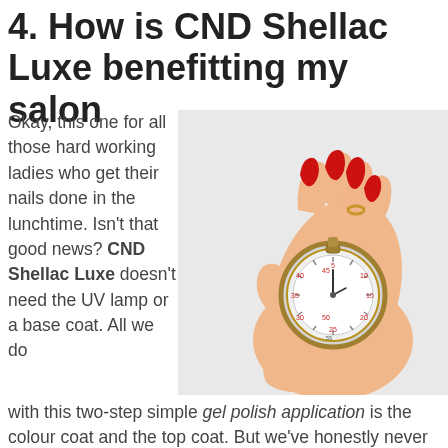4. How is CND Shellac Luxe benefitting my salon
Okay, this one for all those hard working ladies who get their nails done in the lunchtime. Isn't that good news? CND Shellac Luxe doesn't need the UV lamp or a base coat. All we do with this two-step simple gel polish application is the colour coat and the top coat. But we've honestly never seen such
[Figure (photo): A woman's hand with long red nails holding a silver stopwatch against a light grey background]